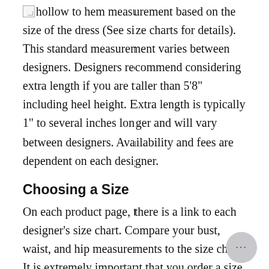hollow to hem measurement based on the size of the dress (See size charts for details). This standard measurement varies between designers. Designers recommend considering extra length if you are taller than 5'8" including heel height. Extra length is typically 1" to several inches longer and will vary between designers. Availability and fees are dependent on each designer.
Choosing a Size
On each product page, there is a link to each designer's size chart. Compare your bust, waist, and hip measurements to the size chart. It is extremely important that you order a size to the largest part of your body. If you are in between sizes, the designer recommends ordering the